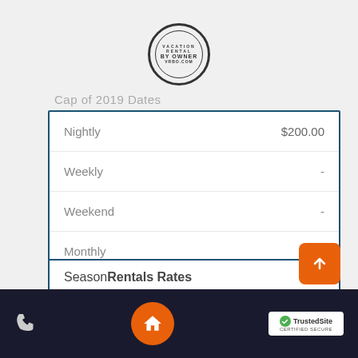[Figure (logo): Vacation Rental By Owner circular stamp logo]
|  |  |
| --- | --- |
| Nightly | $200.00 |
| Weekly | - |
| Weekend | - |
| Monthly | - |
| Min Stay | 3 |
Season Rentals Rates
Oct-06-2019 Oct-26-2019
|  |  |
| --- | --- |
| Nightly | $190.00 |
Phone | Home | TrustedSite CERTIFIED SECURE